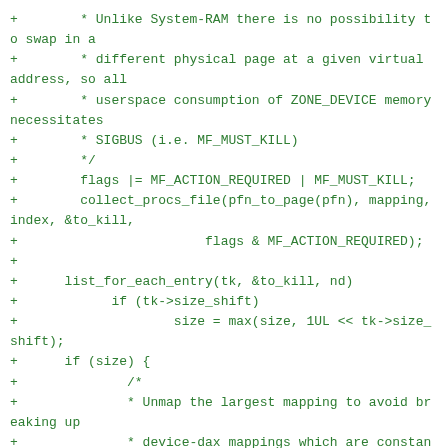+	 * Unlike System-RAM there is no possibility to swap in a
+	 * different physical page at a given virtual address, so all
+	 * userspace consumption of ZONE_DEVICE memory necessitates
+	 * SIGBUS (i.e. MF_MUST_KILL)
+	 */
+	 flags |= MF_ACTION_REQUIRED | MF_MUST_KILL;
+	 collect_procs_file(pfn_to_page(pfn), mapping, index, &to_kill,
+				 flags & MF_ACTION_REQUIRED);
+
+	 list_for_each_entry(tk, &to_kill, nd)
+		 if (tk->size_shift)
+			 size = max(size, 1UL << tk->size_shift);
+	 if (size) {
+		 /*
+		 * Unmap the largest mapping to avoid breaking up
+		 * device-dax mappings which are constant size. The
+		 * actual size of the mapping being torn down is
+		 * communicated in siginfo, see kill_proc()
+		 */
+		 start = (index << PAGE_SHIFT) & ~(size - 1);